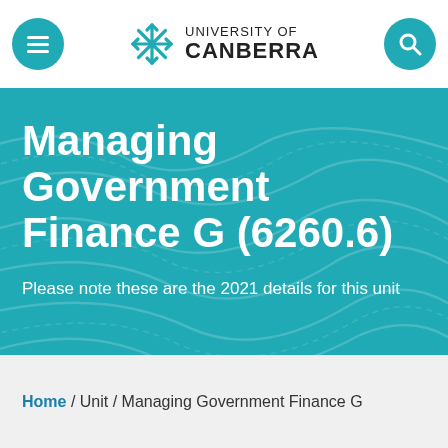University of Canberra — navigation header
Managing Government Finance G (6260.6)
Please note these are the 2021 details for this unit
Home / Unit / Managing Government Finance G